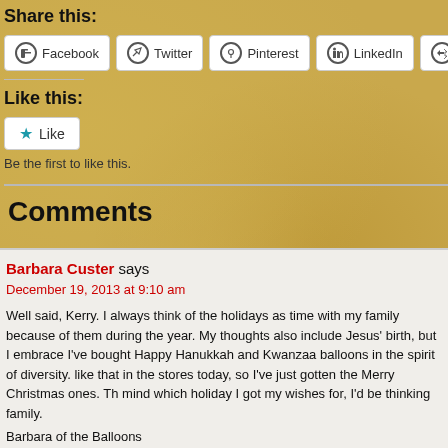Share this:
Facebook  Twitter  Pinterest  LinkedIn  More
Like this:
Like
Be the first to like this.
Comments
Barbara Custer says
December 19, 2013 at 9:10 am
Well said, Kerry. I always think of the holidays as time with my family because of them during the year. My thoughts also include Jesus' birth, but I embrace I've bought Happy Hanukkah and Kwanzaa balloons in the spirit of diversity. like that in the stores today, so I've just gotten the Merry Christmas ones. Th mind which holiday I got my wishes for, I'd be thinking family.
Barbara of the Balloons